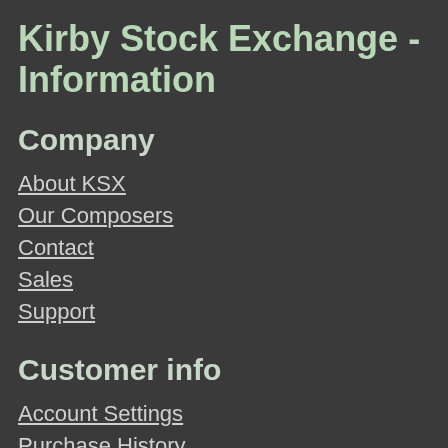Kirby Stock Exchange - Information
Company
About KSX
Our Composers
Contact
Sales
Support
Customer info
Account Settings
Purchase History